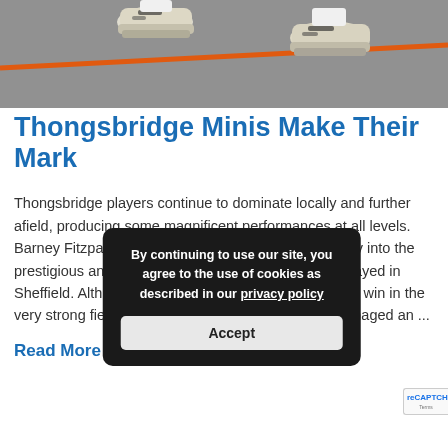[Figure (photo): Close-up photo of a person's feet/shoes on a tennis court with an orange boundary line visible]
Thongsbridge Minis Make Their Mark
Thongsbridge players continue to dominate locally and further afield, producing some magnificent performances at all levels. Barney Fitzpatrick and Oliver Vesely both gained entry into the prestigious and high level under 10s National Tour, played in Sheffield. Although Oliver was unlucky not to secure a win in the very strong field, Barney was in superb form, and managed an ...
Read More